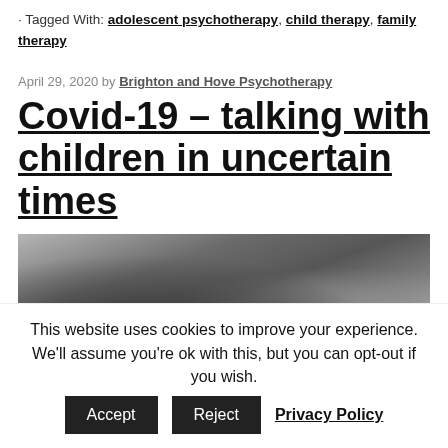· Tagged With: adolescent psychotherapy, child therapy, family therapy
April 29, 2020 by Brighton and Hove Psychotherapy
Covid-19 – talking with children in uncertain times
[Figure (photo): Black and white photograph of a couch with pillows, dimly lit interior scene]
This website uses cookies to improve your experience. We'll assume you're ok with this, but you can opt-out if you wish. Accept Reject Privacy Policy